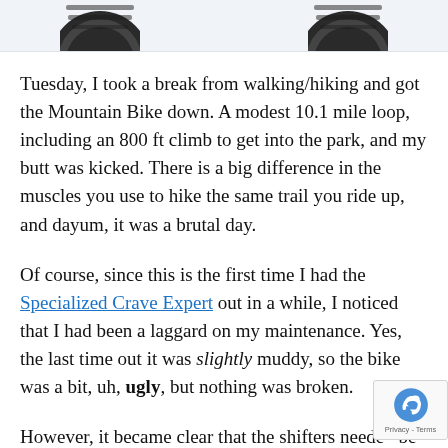[Figure (photo): Partial top view of two mountain bike wheels/tires against a light background, cropped at the top of the page]
Tuesday, I took a break from walking/hiking and got the Mountain Bike down. A modest 10.1 mile loop, including an 800 ft climb to get into the park, and my butt was kicked. There is a big difference in the muscles you use to hike the same trail you ride up, and dayum, it was a brutal day.
Of course, since this is the first time I had the Specialized Crave Expert out in a while, I noticed that I had been a laggard on my maintenance. Yes, the last time out it was slightly muddy, so the bike was a bit, uh, ugly, but nothing was broken.
However, it became clear that the shifters needed be tweaked. After shifting up, there was a slight n from the derailleur, hinting that the indexing was ever